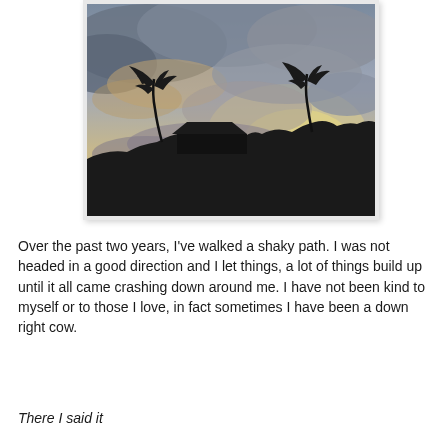[Figure (photo): A photograph of a dramatic cloudy sky at sunset or sunrise with silhouettes of palm trees, rooftops, and tropical vegetation in the foreground. The sky features warm golden and peach tones breaking through grey and blue clouds.]
Over the past two years, I've walked a shaky path. I was not headed in a good direction and I let things, a lot of things build up until it all came crashing down around me. I have not been kind to myself or to those I love, in fact sometimes I have been a down right cow.
There I said it